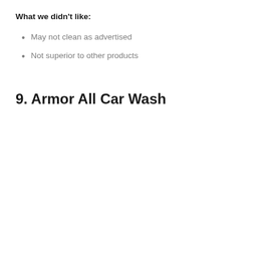What we didn't like:
May not clean as advertised
Not superior to other products
9. Armor All Car Wash